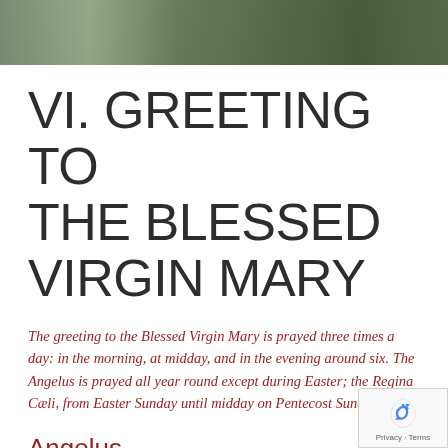[Figure (photo): Partial photo of a person wearing a necklace/rosary beads against an outdoor background]
VI. GREETING TO THE BLESSED VIRGIN MARY
The greeting to the Blessed Virgin Mary is prayed three times a day: in the morning, at midday, and in the evening around six. The Angelus is prayed all year round except during Easter; the Regina Cæli, from Easter Sunday until midday on Pentecost Sunday.
Angelus
V/ The angel of the Lord declared unto Mary.